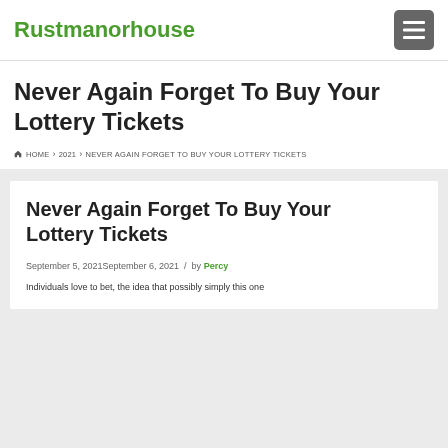Rustmanorhouse
Never Again Forget To Buy Your Lottery Tickets
HOME › 2021 › NEVER AGAIN FORGET TO BUY YOUR LOTTERY TICKETS
Never Again Forget To Buy Your Lottery Tickets
September 5, 2021September 6, 2021 / by Percy
Individuals love to bet, the idea that possibly simply this one